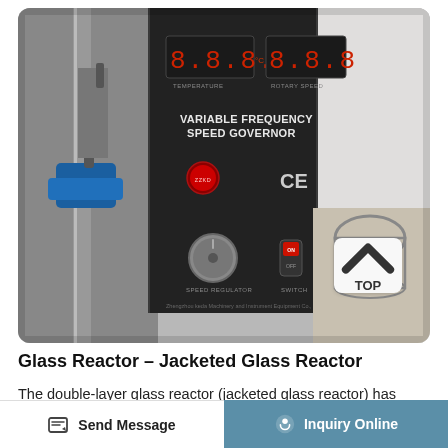[Figure (photo): Product photo of a Glass Reactor / Jacketed Glass Reactor showing the control panel with digital displays labeled TEMPERATURE (°C) and ROTARY SPEED, text reading VARIABLE FREQUENCY SPEED GOVERNOR, a red circular ZZKD brand button, CE mark, a SPEED REGULATOR knob, and an ON/OFF SWITCH. The left side shows metal stand components with blue clamp fittings. Bottom right shows glass vessel outlet. The panel is dark/black colored.]
Glass Reactor – Jacketed Glass Reactor
The double-layer glass reactor (jacketed glass reactor) has a capacity of 100L, 50L, 10L, 5L, 1L. The